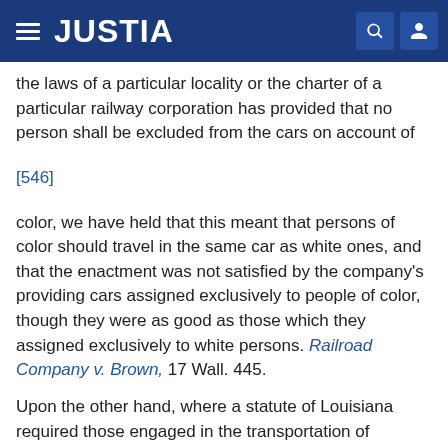JUSTIA
the laws of a particular locality or the charter of a particular railway corporation has provided that no person shall be excluded from the cars on account of
[546]
color, we have held that this meant that persons of color should travel in the same car as white ones, and that the enactment was not satisfied by the company's providing cars assigned exclusively to people of color, though they were as good as those which they assigned exclusively to white persons. Railroad Company v. Brown, 17 Wall. 445.
Upon the other hand, where a statute of Louisiana required those engaged in the transportation of passengers among the States to give to all persons traveling within that State, upon vessels employed in